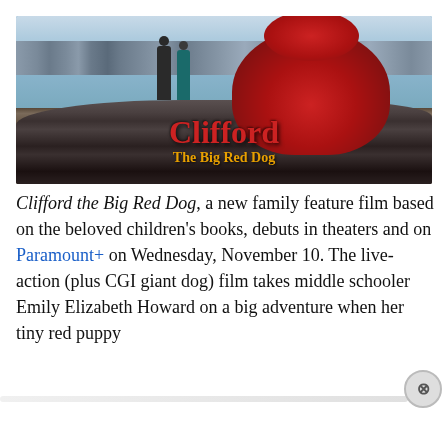[Figure (photo): Movie poster for Clifford the Big Red Dog showing two people and a large red dog sitting on rocks by a harbor, with the film title in red and gold text overlay]
Clifford the Big Red Dog, a new family feature film based on the beloved children's books, debuts in theaters and on Paramount+ on Wednesday, November 10. The live-action (plus CGI giant dog) film takes middle schooler Emily Elizabeth Howard on a big adventure when her tiny red puppy